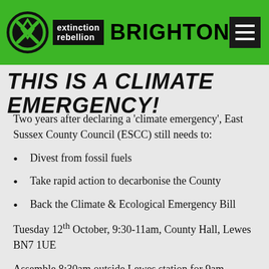[Figure (logo): Extinction Rebellion Brighton logo with XR circle symbol, 'extinction rebellion' text in black box, 'BRIGHTON' in bold black text, hamburger menu icon on green background]
THIS IS A CLIMATE EMERGENCY!
Two years after declaring a 'climate emergency', East Sussex County Council (ESCC) still needs to:
Divest from fossil fuels
Take rapid action to decarbonise the County
Back the Climate & Ecological Emergency Bill
Tuesday 12th October, 9:30-11am, County Hall, Lewes BN7 1UE
Assemble 8:30am outside Lewes station for 9am procession